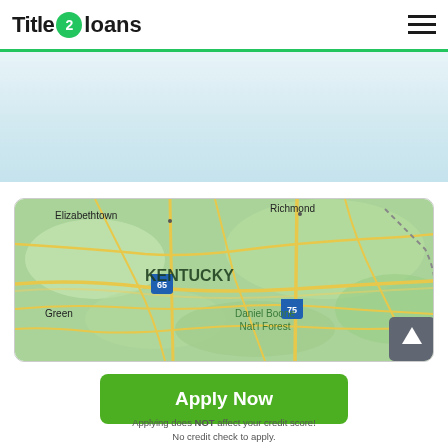Title 2 loans
[Figure (map): Google Maps screenshot showing Kentucky state map with Elizabethtown, Richmond, Green, Daniel Boone Nat'l Forest labels, and highway markers 65 and 75]
Apply Now
Applying does NOT affect your credit score! No credit check to apply.